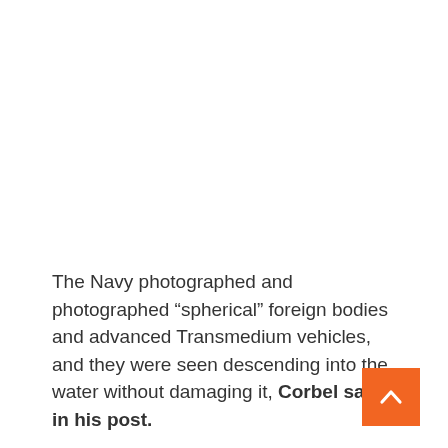The Navy photographed and photographed “spherical” foreign bodies and advanced Transmedium vehicles, and they were seen descending into the water without damaging it, Corbel said in his post.